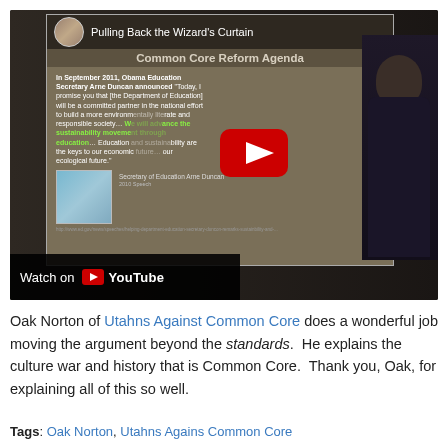[Figure (screenshot): YouTube video thumbnail showing a presentation titled 'Pulling Back the Wizard's Curtain' about 'Common Core Reform Agenda', with a quote from Obama Education Secretary Arne Duncan about sustainability and education. A YouTube play button is overlaid in the center. A 'Watch on YouTube' bar appears at the bottom left.]
Oak Norton of Utahns Against Common Core does a wonderful job moving the argument beyond the standards. He explains the culture war and history that is Common Core. Thank you, Oak, for explaining all of this so well.
Tags: Oak Norton, Utahns Agains Common Core